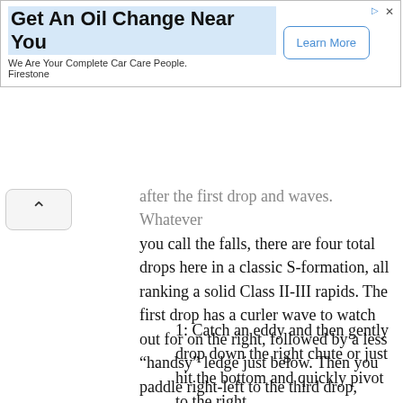[Figure (other): Advertisement banner for Firestone oil change service with 'Learn More' button]
after the first drop and waves. Whatever you call the falls, there are four total drops here in a classic S-formation, all ranking a solid Class II-III rapids. The first drop has a curler wave to watch out for on the right, followed by a less “handsy” ledge just below. Then you paddle right-left to the third drop, which is a few feet tall. At the bottom of this you have three choices, depending on both skill and water level:
1: Catch an eddy and then gently drop down the right chute or just hit the bottom and quickly pivot to the right